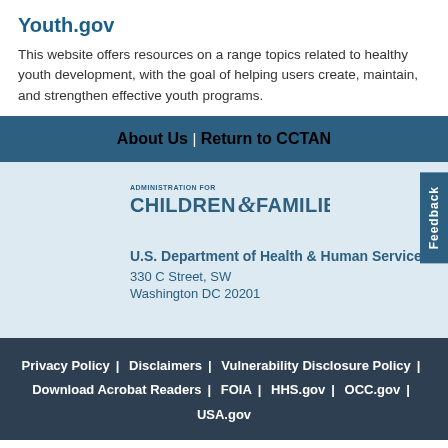Youth.gov
This website offers resources on a range topics related to healthy youth development, with the goal of helping users create, maintain, and strengthen effective youth programs.
About Us | Return to CCTAN
[Figure (logo): Administration for Children & Families logo with text: ADMINISTRATION FOR CHILDREN & FAMILIES]
U.S. Department of Health & Human Services
330 C Street, SW
Washington DC 20201
Privacy Policy | Disclaimers | Vulnerability Disclosure Policy | Download Acrobat Readers | FOIA | HHS.gov | OCC.gov | USA.gov